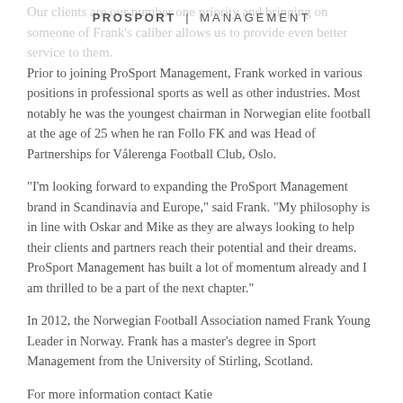PROSPORT | MANAGEMENT
Our clients are our number one priority and bringing on someone of Frank's caliber allows us to provide even better service to them.
Prior to joining ProSport Management, Frank worked in various positions in professional sports as well as other industries. Most notably he was the youngest chairman in Norwegian elite football at the age of 25 when he ran Follo FK and was Head of Partnerships for Vålerenga Football Club, Oslo.
“I’m looking forward to expanding the ProSport Management brand in Scandinavia and Europe,” said Frank. “My philosophy is in line with Oskar and Mike as they are always looking to help their clients and partners reach their potential and their dreams. ProSport Management has built a lot of momentum already and I am thrilled to be a part of the next chapter.”
In 2012, the Norwegian Football Association named Frank Young Leader in Norway. Frank has a master’s degree in Sport Management from the University of Stirling, Scotland.
For more information contact Katie